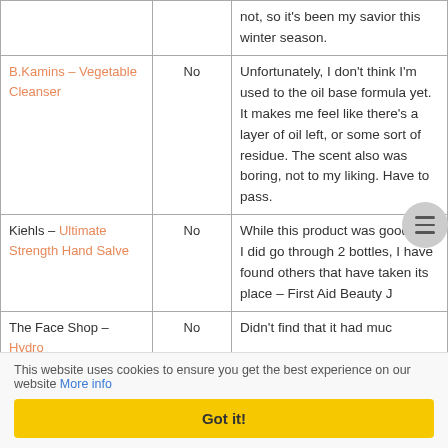| Product | Repurchase? | Review |
| --- | --- | --- |
|  |  | not, so it's been my savior this winter season. |
| B.Kamins – Vegetable Cleanser | No | Unfortunately, I don't think I'm used to the oil base formula yet. It makes me feel like there's a layer of oil left, or some sort of residue. The scent also was boring, not to my liking. Have to pass. |
| Kiehls – Ultimate Strength Hand Salve | No | While this product was good and I did go through 2 bottles, I have found others that have taken its place – First Aid Beauty J |
| The Face Shop – Hydro | No | Didn't find that it had muc |
This website uses cookies to ensure you get the best experience on our website More info
Got it!